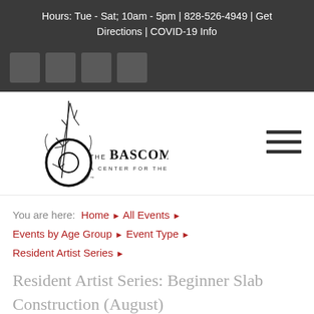Hours: Tue - Sat; 10am - 5pm | 828-526-4949 | Get Directions | COVID-19 Info
[Figure (logo): Four social media icon placeholder squares in dark gray]
[Figure (logo): The Bascom - A Center for the Visual Arts logo with stylized b and branch artwork]
You are here:  Home  ▶  All Events  ▶  Events by Age Group  ▶  Event Type  ▶  Resident Artist Series  ▶
Resident Artist Series: Beginner Slab Construction (August)